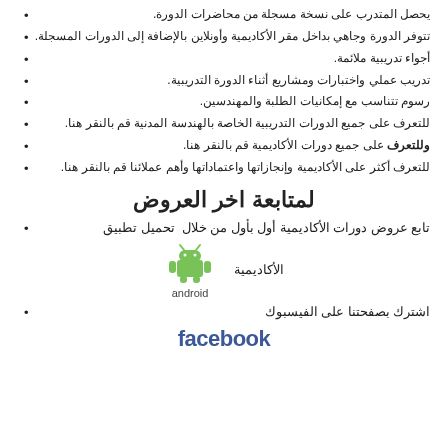يحصل المتدرب على نسخة مسجلة من محاضرات الدورة.
تتوفر الدورة وجاهي بداخل مقر الأكاديمية وأونلاين بالإضافة إلى الدورات المسجلة.
أجواء تدريبية ملائمة.
تدريب عملي واختبارات ومشاريع أثناء الدورة التدريبية.
رسوم تتناسب مع إمكانيات الطلبة والمهندسين.
للتعرف على جميع الدورات التدريبية الخاصة بالهندسة المدنية قم بالنقر هنا.
وللتعرف على جميع دورات الأكاديمية قم بالنقر هنا.
للتعرف أكثر على الأكاديمية وإنجازاتها واعتماداتها وأهم عملائنا قم بالنقر هنا.
لمتابعة اخر العروض
تابع عروض دورات الأكاديمية أول بأول من خلال  تحميل تطبيق
[Figure (logo): Android logo with robot icon and 'android' text below, and 'الأكاديمية' text to the right]
اشترك بصفحتنا على الفيسبوك
[Figure (logo): Facebook logo in blue bold text]